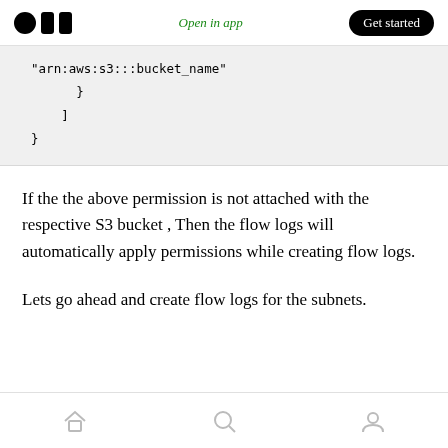Medium logo | Open in app | Get started
"arn:aws:s3:::bucket_name"
        }
      ]
  }
If the the above permission is not attached with the respective S3 bucket , Then the flow logs will automatically apply permissions while creating flow logs.
Lets go ahead and create flow logs for the subnets.
Bottom navigation: Home, Search, Profile